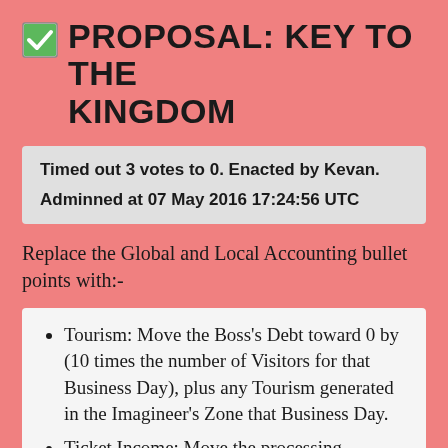PROPOSAL: KEY TO THE KINGDOM
Timed out 3 votes to 0. Enacted by Kevan.
Adminned at 07 May 2016 17:24:56 UTC
Replace the Global and Local Accounting bullet points with:-
Tourism: Move the Boss's Debt toward 0 by (10 times the number of Visitors for that Business Day), plus any Tourism generated in the Imagineer's Zone that Business Day.
Ticket Income: Move the processing